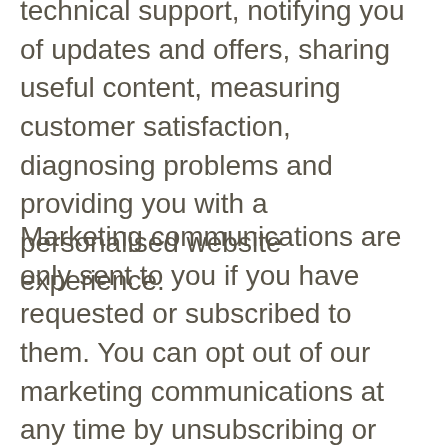technical support, notifying you of updates and offers, sharing useful content, measuring customer satisfaction, diagnosing problems and providing you with a personalised website experience.
Marketing communications are only sent to you if you have requested or subscribed to them. You can opt out of our marketing communications at any time by unsubscribing or emailing us and your request will be actioned immediately.